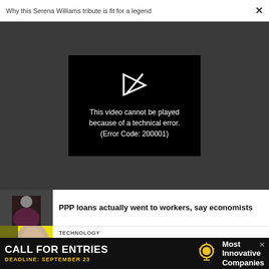Why this Serena Williams tribute is fit for a legend
[Figure (screenshot): Video player showing error: 'This video cannot be played because of a technical error. (Error Code: 200001)' with a broken play icon on black background over dark grey area.]
PPP loans actually went to workers, say economists
TECHNOLOGY
This is how Snap is fostering the future of augmented reality
[Figure (infographic): Advertisement banner: CALL FOR ENTRIES / DEADLINE: SEPTEMBER 23 / Most Innovative Companies with lightbulb icon]